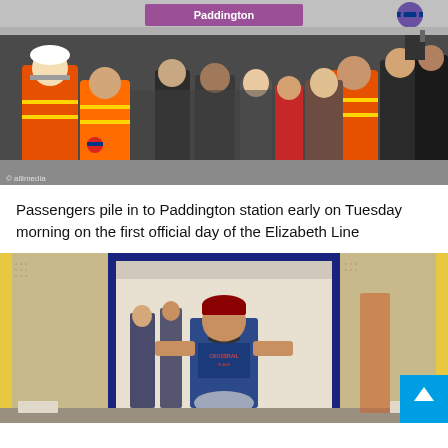[Figure (photo): Crowd of passengers and workers in orange hi-vis vests filling Paddington station platform on the first day of the Elizabeth Line. A purple sign reading 'Paddington' is visible at the top, along with the Elizabeth line roundel logo.]
Passengers pile in to Paddington station early on Tuesday morning on the first official day of the Elizabeth Line
[Figure (photo): A passenger in a blue cap and T-shirt stepping off an Elizabeth line train through open doors at a station platform. Other passengers visible inside the train carriage.]